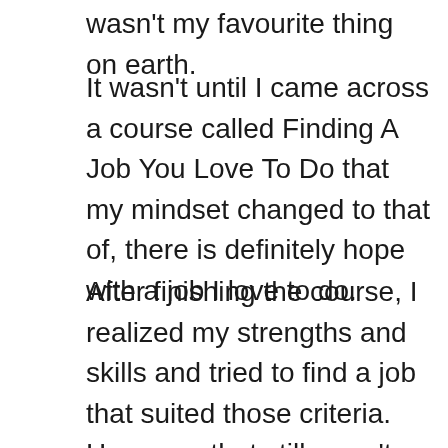wasn't my favourite thing on earth.
It wasn't until I came across a course called Finding A Job You Love To Do that my mindset changed to that of, there is definitely hope with a job I love to do.
After finishing the course, I realized my strengths and skills and tried to find a job that suited those criteria.  However, that still wasn't satisfactory until I came across a program that embraced my passion in life and encouraged me to